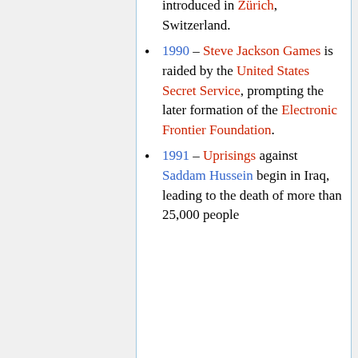introduced in Zürich, Switzerland.
1990 – Steve Jackson Games is raided by the United States Secret Service, prompting the later formation of the Electronic Frontier Foundation.
1991 – Uprisings against Saddam Hussein begin in Iraq, leading to the death of more than 25,000 people